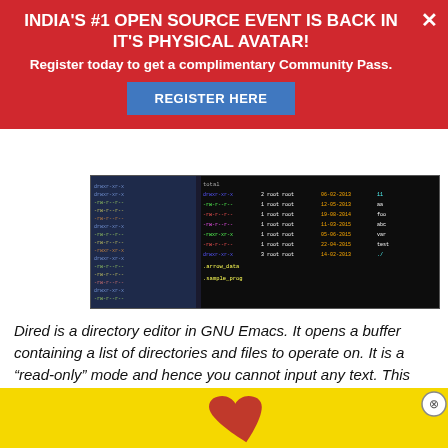INDIA'S #1 OPEN SOURCE EVENT IS BACK IN IT'S PHYSICAL AVATAR!
Register today to get a complimentary Community Pass.
REGISTER HERE
[Figure (screenshot): Screenshot of a terminal/Dired buffer in GNU Emacs showing a directory listing with colored file entries]
Dired is a directory editor in GNU Emacs. It opens a buffer containing a list of directories and files to operate on. It is a “read-only” mode and hence you cannot input any text. This article explores some of the basic commands that can be used in Dired mode.
Let us first create a sample directory, sub-directories and files that w… and execu…